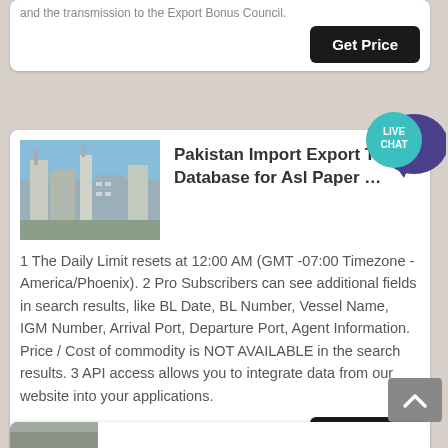and the transmission to the Export Bonus Council.
[Figure (other): Get Price button (dark/black rounded rectangle)]
[Figure (other): Live Chat speech bubble icon with teal circle and purple chat bubble]
[Figure (photo): Industrial facility/paper mill building photo]
Pakistan Import Export Trade Database for Asl Paper …
1 The Daily Limit resets at 12:00 AM (GMT -07:00 Timezone - America/Phoenix). 2 Pro Subscribers can see additional fields in search results, like BL Date, BL Number, Vessel Name, IGM Number, Arrival Port, Departure Port, Agent Information. Price / Cost of commodity is NOT AVAILABLE in the search results. 3 API access allows you to integrate data from our website into your applications.
[Figure (other): Get Price button (dark/black rounded rectangle)]
[Figure (other): Scroll to top button (grey square with upward chevron)]
[Figure (photo): Partial image at bottom of page, partially visible]